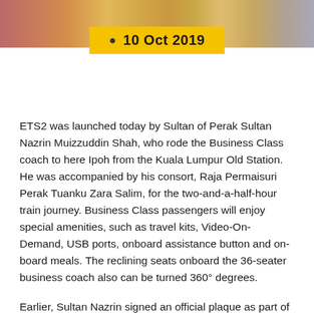[Figure (photo): Photograph strip at top of page showing a group of people in colorful traditional attire]
10 Oct 2019
ETS2 was launched today by Sultan of Perak Sultan Nazrin Muizzuddin Shah, who rode the Business Class coach to here Ipoh from the Kuala Lumpur Old Station. He was accompanied by his consort, Raja Permaisuri Perak Tuanku Zara Salim, for the two-and-a-half-hour train journey. Business Class passengers will enjoy special amenities, such as travel kits, Video-On-Demand, USB ports, onboard assistance button and on-board meals. The reclining seats onboard the 36-seater business coach also can be turned 360° degrees.
Earlier, Sultan Nazrin signed an official plaque as part of the soft launch of the ETS2 before boarding the train, which departed at about 2 pm. On board, Sultan Nazrin was also given a tour of the driver's cockpit and the train's facilities, such as its cafe, the audio visual systems and the facilities for